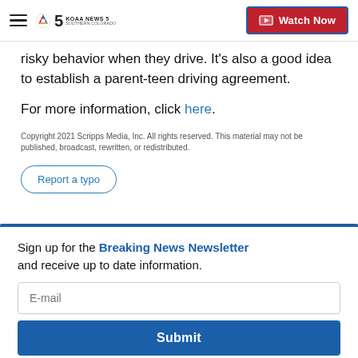KOAA News 5 Southern Colorado — Watch Now
risky behavior when they drive. It's also a good idea to establish a parent-teen driving agreement.
For more information, click here.
Copyright 2021 Scripps Media, Inc. All rights reserved. This material may not be published, broadcast, rewritten, or redistributed.
Report a typo
Sign up for the Breaking News Newsletter and receive up to date information.